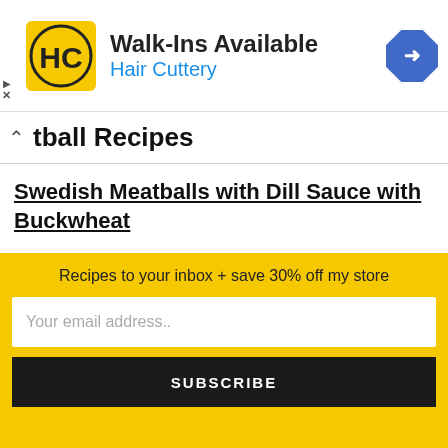[Figure (logo): Hair Cuttery advertisement banner with yellow HC logo, text 'Walk-Ins Available' and 'Hair Cuttery' in blue, and a blue diamond navigation arrow icon]
tball Recipes
Swedish Meatballs with Dill Sauce with Buckwheat
This IKEA-inspired beef mince recipe needs no introductions. Simple 4-ingredients mixture with a dill gravy goes down a real treat, every time.
Eggless Pork Meatballs in Rice Noodle S
Recipes to your inbox + save 30% off my store
Your email address..
SUBSCRIBE